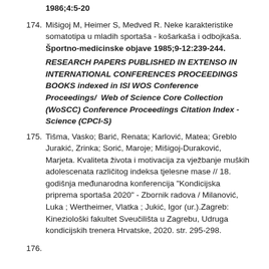continuation of previous item: 1986;4:5-20
174. Mišigoj M, Heimer S, Medved R. Neke karakteristike somatotipa u mladih sportaša - košarkaša i odbojkaša. Športno-medicinske objave 1985;9-12:239-244.
RESEARCH PAPERS PUBLISHED IN EXTENSO IN INTERNATIONAL CONFERENCES PROCEEDINGS BOOKS indexed in ISI WOS Conference Proceedings/ Web of Science Core Collection (WoSCC) Conference Proceedings Citation Index - Science (CPCI-S)
175. Tišma, Vasko; Barić, Renata; Karlović, Matea; Greblo Jurakić, Zrinka; Sorić, Maroje; Mišigoj-Duraković, Marjeta. Kvaliteta života i motivacija za vježbanje muških adolescenata različitog indeksa tjelesne mase // 18. godišnja međunarodna konferencija "Kondicijska priprema sportaša 2020" - Zbornik radova / Milanović, Luka ; Wertheimer, Vlatka ; Jukić, Igor (ur.).Zagreb: Kineziološki fakultet Sveučilišta u Zagrebu, Udruga kondicijskih trenera Hrvatske, 2020. str. 295-298.